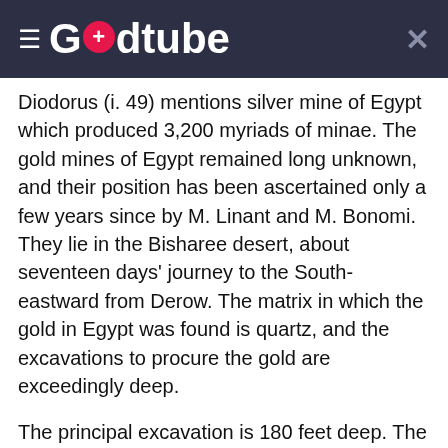Godtube
Diodorus (i. 49) mentions silver mine of Egypt which produced 3,200 myriads of minae. The gold mines of Egypt remained long unknown, and their position has been ascertained only a few years since by M. Linant and M. Bonomi. They lie in the Bisharee desert, about seventeen days' journey to the South-eastward from Derow. The matrix in which the gold in Egypt was found is quartz, and the excavations to procure the gold are exceedingly deep.
The principal excavation is 180 feet deep. The quartz thus obtained was broken by the workmen into small fragments, of the size of a bean, and these were passed through hand mills made of granitic stone, and when reduced to powder the quartz was washed on inclined tables, and the gold was thus separated from the stone. Diodorus says, that the principal persons engaged in mining operations were captives, taken in war, and persons who were compelled to labor in the